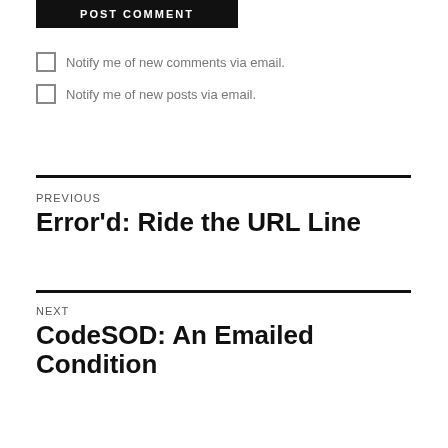POST COMMENT
Notify me of new comments via email.
Notify me of new posts via email.
Previous
Error'd: Ride the URL Line
Next
CodeSOD: An Emailed Condition